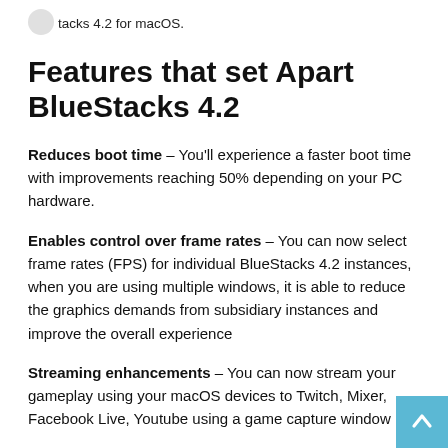BlueStacks 4.2 for macOS.
Features that set Apart BlueStacks 4.2
Reduces boot time – You'll experience a faster boot time with improvements reaching 50% depending on your PC hardware.
Enables control over frame rates – You can now select frame rates (FPS) for individual BlueStacks 4.2 instances, when you are using multiple windows, it is able to reduce the graphics demands from subsidiary instances and improve the overall experience
Streaming enhancements – You can now stream your gameplay using your macOS devices to Twitch, Mixer, Facebook Live, Youtube using a game capture window